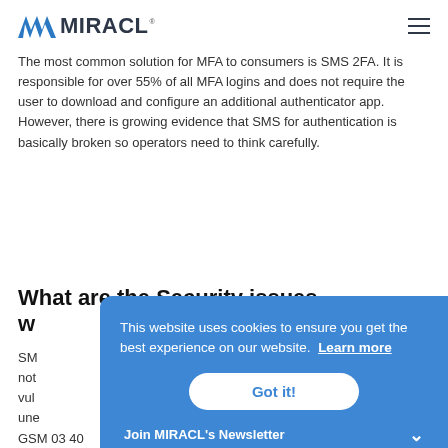MIRACL
The most common solution for MFA to consumers is SMS 2FA. It is responsible for over 55% of all MFA logins and does not require the user to download and configure an additional authenticator app. However, there is growing evidence that SMS for authentication is basically broken so operators need to think carefully.
What are the Security issues w
SM not vul une GSM 03 40
This website uses cookies to ensure you get the best experience on our website. Learn more
Got it!
Join MIRACL's Newsletter